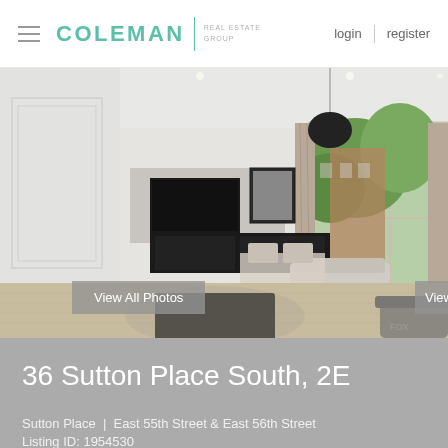COLEMAN REAL ESTATE GROUP | login | register
[Figure (photo): Modern luxury living room interior rendering with white walls, large windows showing greenery outside, dark TV unit, pendant lamp, and open floor plan dining area]
View All Photos
View Floor Plan
View
36 Sutton Place South, 2E
Sutton Place  |  East 55th Street & East 56th Street
Listing ID: 1954530